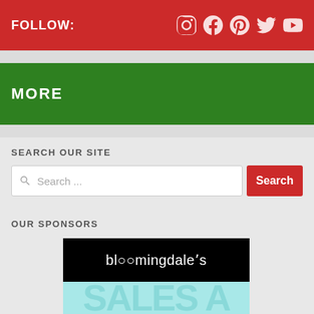FOLLOW:
MORE
SEARCH OUR SITE
Search ...
Search
OUR SPONSORS
[Figure (logo): Bloomingdale's logo on black background with teal SALES text below]